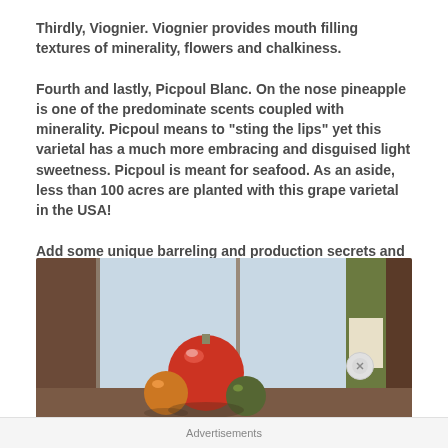Thirdly, Viognier. Viognier provides mouth filling textures of minerality, flowers and chalkiness.
Fourth and lastly, Picpoul Blanc. On the nose pineapple is one of the predominate scents coupled with minerality. Picpoul means to "sting the lips" yet this varietal has a much more embracing and disguised light sweetness. Picpoul is meant for seafood. As an aside, less than 100 acres are planted with this grape varietal in the USA!
Add some unique barreling and production secrets and one can only marvel sipping this wine.
[Figure (photo): Photo of decorative glass balls and a wine bottle near a window]
Advertisements